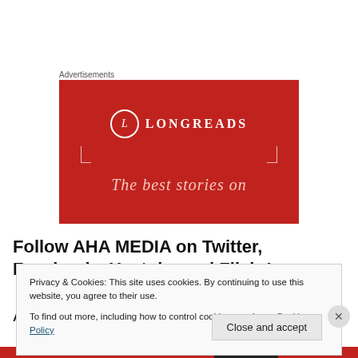Advertisements
[Figure (logo): Longreads advertisement banner — red background with LONGREADS logo in white and text 'The best stories on']
Follow AHA MEDIA on Twitter, Facebook,  Youtube and Flickr!
AHA MEDIA Twitter @AHAMEDIA @AoilFli
Privacy & Cookies: This site uses cookies. By continuing to use this website, you agree to their use.
To find out more, including how to control cookies, see here: Cookie Policy
Close and accept